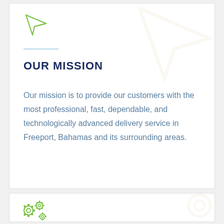[Figure (illustration): Green paper plane / send icon in top-left of first card]
OUR MISSION
Our mission is to provide our customers with the most professional, fast, dependable, and technologically advanced delivery service in Freeport, Bahamas and its surrounding areas.
[Figure (illustration): Green gears / settings icons in top-left of second card]